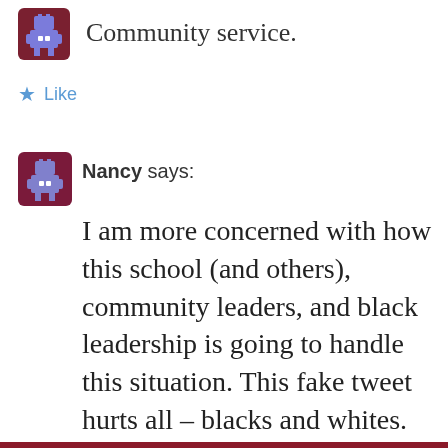Community service.
Like
Nancy says:
I am more concerned with how this school (and others), community leaders, and black leadership is going to handle this situation. This fake tweet hurts all – blacks and whites. The students need to